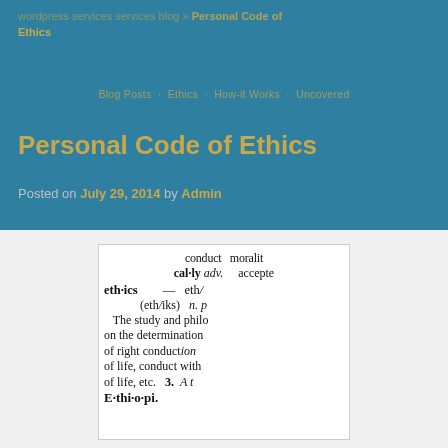Personal Code of Ethics
Blog Posts, Ethics, How-it Works, Uncovered
Personal Code of Ethics
Posted on July 29, 2014 by Admin
[Figure (photo): Close-up photograph of a dictionary page showing the definition of 'ethics', with bold text reading 'eth·ics (eth/iks) n.' and 'The study and philo...' visible among other dictionary entries including 'cal·ly adv.' and partial words like 'conduct', 'moralit', 'accepte', 'eth/', 'determination', 'of right conduct with', 'of life, etc. 3. A t']
Are codes of ethics different between societies